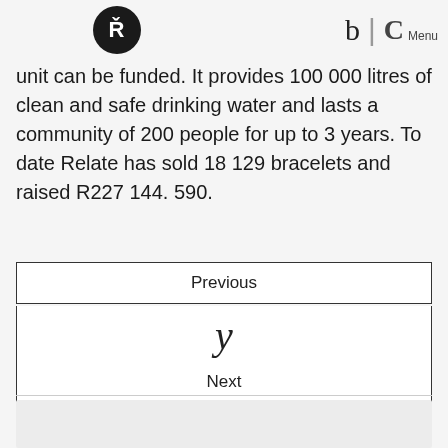Ř b | C Menu
unit can be funded. It provides 100 000 litres of clean and safe drinking water and lasts a community of 200 people for up to 3 years. To date Relate has sold 18 129 bracelets and raised R227 144. 590.
Previous
y
Next